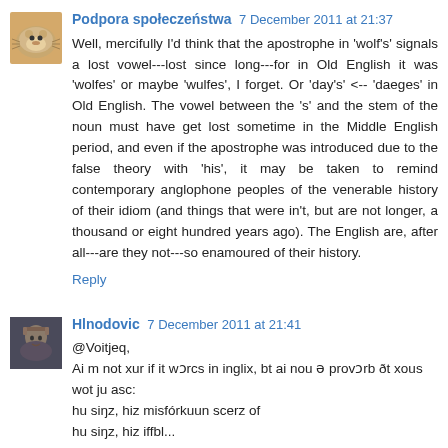[Figure (photo): Small avatar image of a guinea pig]
Podpora społeczeństwa 7 December 2011 at 21:37
Well, mercifully I'd think that the apostrophe in 'wolf's' signals a lost vowel---lost since long---for in Old English it was 'wolfes' or maybe 'wulfes', I forget. Or 'day's' <-- 'daeges' in Old English. The vowel between the 's' and the stem of the noun must have get lost sometime in the Middle English period, and even if the apostrophe was introduced due to the false theory with 'his', it may be taken to remind contemporary anglophone peoples of the venerable history of their idiom (and things that were in't, but are not longer, a thousand or eight hundred years ago). The English are, after all---are they not---so enamoured of their history.
Reply
[Figure (photo): Small avatar image of a medieval figure]
Hlnodovic 7 December 2011 at 21:41
@Voitjeq,
Ai m not xur if it wɔrcs in inglix, bt ai nou ə provɔrb ðt xous wot ju asc:
hu siŋz, hiz misfórkuun scerz of
hu siŋz, hiz iffbl...